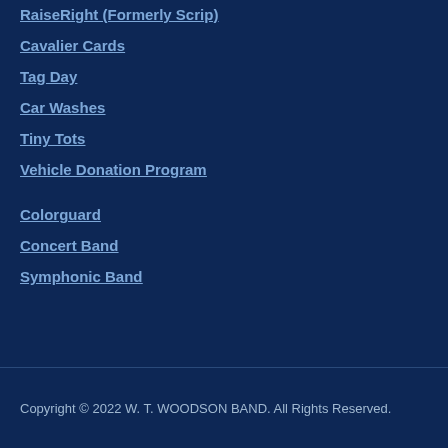RaiseRight (Formerly Scrip)
Cavalier Cards
Tag Day
Car Washes
Tiny Tots
Vehicle Donation Program
Colorguard
Concert Band
Symphonic Band
Copyright © 2022 W. T. WOODSON BAND. All Rights Reserved.